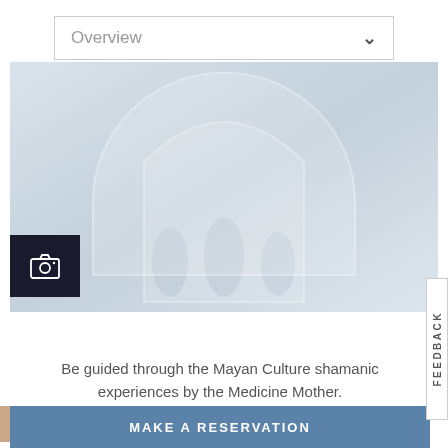Overview
[Figure (photo): Faded photo of Mayan architecture with an arch, muted blue-gray tones, camera icon overlay in bottom-left]
2 / CULTURE
Be guided through the Mayan Culture shamanic experiences by the Medicine Mother.
12 people have recently viewed this hotel
MAKE A RESERVATION